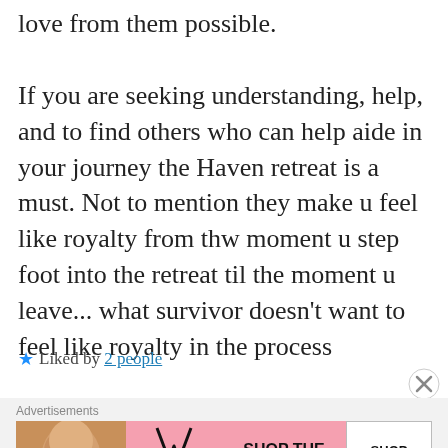love from them possible. If you are seeking understanding, help, and to find others who can help aide in your journey the Haven retreat is a must. Not to mention they make u feel like royalty from thw moment u step foot into the retreat til the moment u leave... what survivor doesn't want to feel like royalty in the process
Liked by 2 people
[Figure (other): Victoria's Secret advertisement banner with model photo, VS logo, 'SHOP THE COLLECTION' text, and 'SHOP NOW' button]